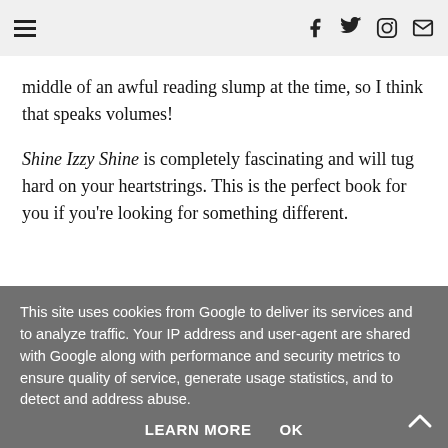[menu icon] [facebook] [twitter] [instagram] [email]
middle of an awful reading slump at the time, so I think that speaks volumes!
Shine Izzy Shine is completely fascinating and will tug hard on your heartstrings. This is the perfect book for you if you're looking for something different.
[Figure (illustration): Five black heart symbols in a row representing a 5/5 star rating]
This site uses cookies from Google to deliver its services and to analyze traffic. Your IP address and user-agent are shared with Google along with performance and security metrics to ensure quality of service, generate usage statistics, and to detect and address abuse.
LEARN MORE   OK